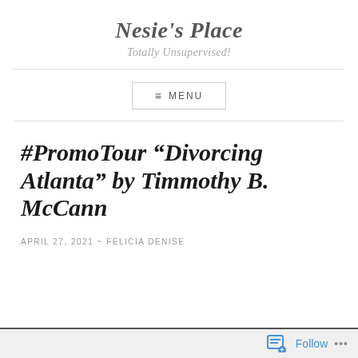Nesie's Place
Totally Unsupervised!
≡ MENU
#PromoTour “Divorcing Atlanta” by Timmothy B. McCann
APRIL 27, 2021 ~ FELICIA DENISE
Follow ...